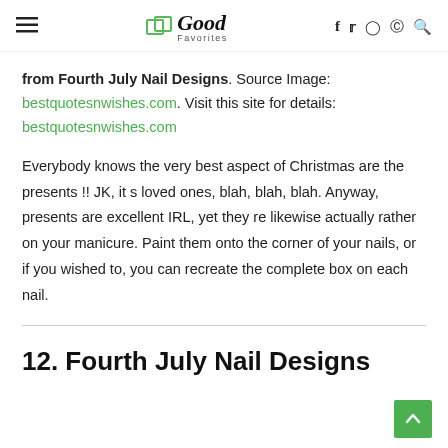Good Favorites
from Fourth July Nail Designs. Source Image: bestquotesnwishes.com. Visit this site for details: bestquotesnwishes.com
Everybody knows the very best aspect of Christmas are the presents !! JK, it s loved ones, blah, blah, blah. Anyway, presents are excellent IRL, yet they re likewise actually rather on your manicure. Paint them onto the corner of your nails, or if you wished to, you can recreate the complete box on each nail.
12. Fourth July Nail Designs